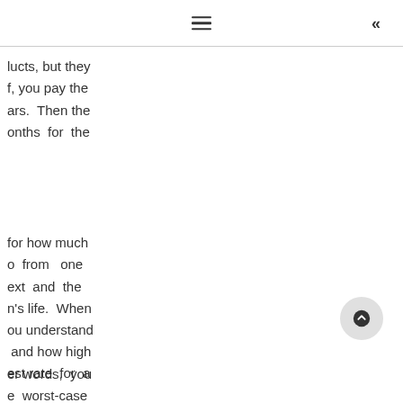≡  «
lucts, but they
f, you pay the
ars. Then the
onths for the
for how much
o from one
ext and the
n's life. When
ou understand
and how high
er words, you
e worst-case
:.
est rate for a